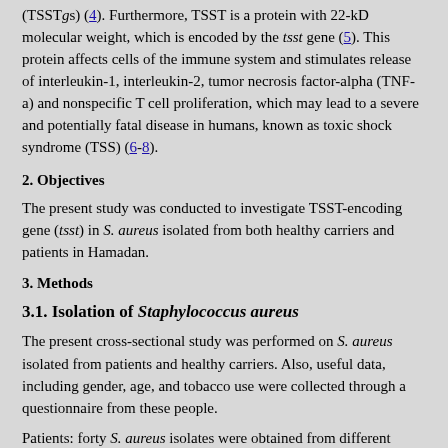(TSST gs) (4). Furthermore, TSST is a protein with 22-kD molecular weight, which is encoded by the tsst gene (5). This protein affects cells of the immune system and stimulates release of interleukin-1, interleukin-2, tumor necrosis factor-alpha (TNF-a) and nonspecific T cell proliferation, which may lead to a severe and potentially fatal disease in humans, known as toxic shock syndrome (TSS) (6-8).
2. Objectives
The present study was conducted to investigate TSST-encoding gene (tsst) in S. aureus isolated from both healthy carriers and patients in Hamadan.
3. Methods
3.1. Isolation of Staphylococcus aureus
The present cross-sectional study was performed on S. aureus isolated from patients and healthy carriers. Also, useful data, including gender, age, and tobacco use were collected through a questionnaire from these people.
Patients: forty S. aureus isolates were obtained from different clinical samples (skin, tracheal tube, blood, urine, and sputum) of individuals referred to Shahid Beheshti hospital of Hamadan for a period of 9 months from January 2014 to September 2015. These isolates were identified based on common biochemical tests.